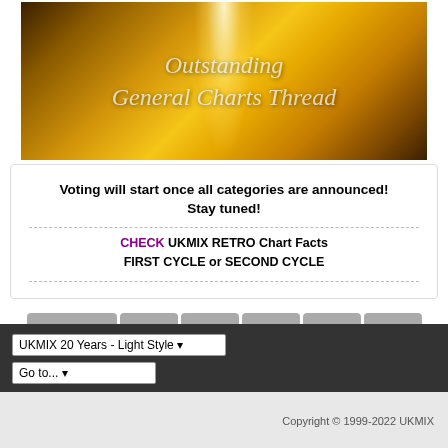[Figure (illustration): Golden light burst banner with text 'Outstanding General Charts Thread']
Voting will start once all categories are announced! Stay tuned!
CHECK UKMIX RETRO Chart Facts FIRST CYCLE or SECOND CYCLE
Previous 1 44 45 46 47
UKMIX 20 Years - Light Style
Go to...
Copyright © 1999-2022 UKMIX